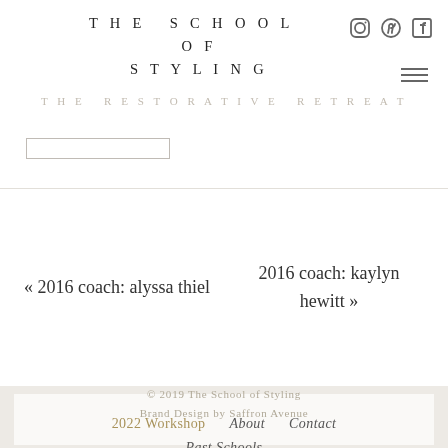THE SCHOOL OF STYLING
THE RESTORATIVE RETREAT
« 2016 coach: alyssa thiel
2016 coach: kaylyn hewitt »
2022 Workshop   About   Contact   Past Schools   Case Studies
© 2019 The School of Styling Brand Design by Saffron Avenue